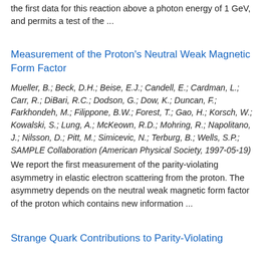the first data for this reaction above a photon energy of 1 GeV, and permits a test of the ...
Measurement of the Proton's Neutral Weak Magnetic Form Factor
Mueller, B.; Beck, D.H.; Beise, E.J.; Candell, E.; Cardman, L.; Carr, R.; DiBari, R.C.; Dodson, G.; Dow, K.; Duncan, F.; Farkhondeh, M.; Filippone, B.W.; Forest, T.; Gao, H.; Korsch, W.; Kowalski, S.; Lung, A.; McKeown, R.D.; Mohring, R.; Napolitano, J.; Nilsson, D.; Pitt, M.; Simicevic, N.; Terburg, B.; Wells, S.P.; SAMPLE Collaboration (American Physical Society, 1997-05-19)
We report the first measurement of the parity-violating asymmetry in elastic electron scattering from the proton. The asymmetry depends on the neutral weak magnetic form factor of the proton which contains new information ...
Strange Quark Contributions to Parity-Violating Asymmetries in the Proton and in 0-A The...